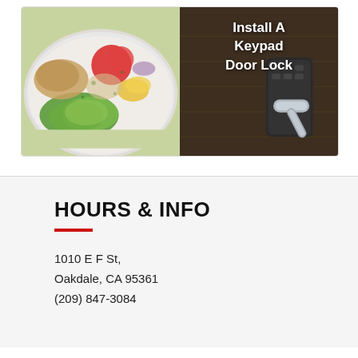[Figure (photo): Two side-by-side images: left shows a colorful food bowl with avocado, chicken, tomato, corn and greens; right shows a keypad door lock on a dark wooden door with white bold text 'Install A Keypad Door Lock']
HOURS & INFO
1010 E F St,
Oakdale, CA 95361
(209) 847-3084